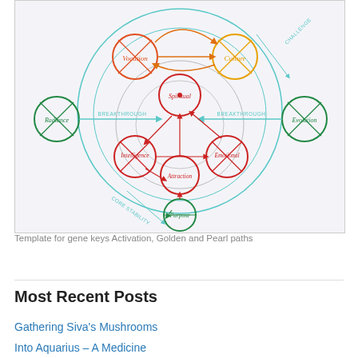[Figure (schematic): Hand-drawn diagram showing a template for gene keys Activation, Golden and Pearl paths. Multiple labeled circles connected by arrows: Vocation (red/orange), Culture (yellow), Spiritual (red, center top), Radiance (green, left), Evolution (green, right), Intelligence (red, lower left), Emotional (red, lower right), Attraction (red, center), Purpose (green, bottom). Arrows labeled Breakthrough, Core Stability, Challenge connecting the nodes.]
Template for gene keys Activation, Golden and Pearl paths
Most Recent Posts
Gathering Siva's Mushrooms
Into Aquarius – A Medicine